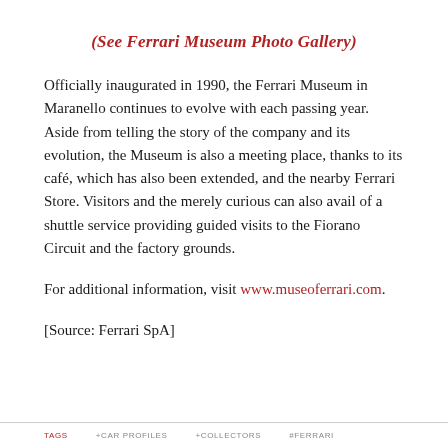(See Ferrari Museum Photo Gallery)
Officially inaugurated in 1990, the Ferrari Museum in Maranello continues to evolve with each passing year. Aside from telling the story of the company and its evolution, the Museum is also a meeting place, thanks to its café, which has also been extended, and the nearby Ferrari Store. Visitors and the merely curious can also avail of a shuttle service providing guided visits to the Fiorano Circuit and the factory grounds.
For additional information, visit www.museoferrari.com.
[Source: Ferrari SpA]
TAGS  +CAR PROFILES  +COLLECTORS  #FERRARI